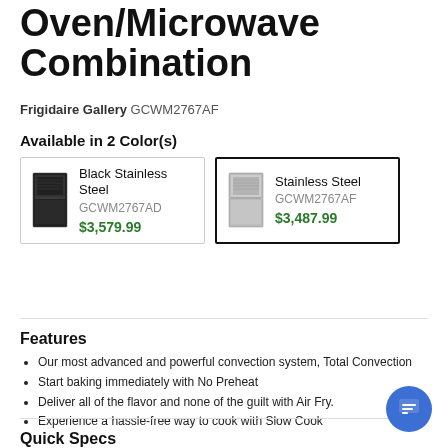Oven/Microwave Combination
Frigidaire Gallery GCWM2767AF
Available in 2 Color(s)
Black Stainless Steel GCWM2767AD $3,579.99
Stainless Steel GCWM2767AF $3,487.99
Features
Our most advanced and powerful convection system, Total Convection
Start baking immediately with No Preheat
Deliver all of the flavor and none of the guilt with Air Fry.
Experience a hassle-free way to cook with Slow Cook
Quick Specs
Type: Electric Wall Oven/microwave Combo